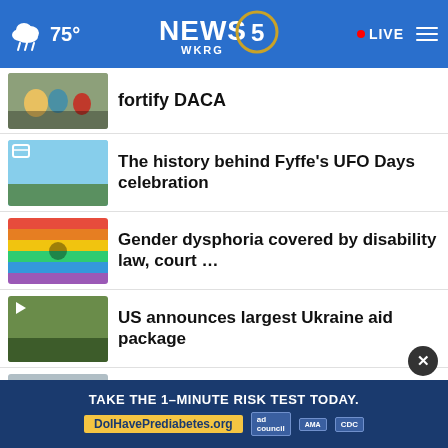NEWS 5 WKRG | 75° | LIVE
fortify DACA
The history behind Fyffe's UFO Days celebration
Gender dysphoria covered by disability law, court …
US announces largest Ukraine aid package
Application deadline approaching for Mississippi …
Northwest Florida fair return with $5
TAKE THE 1-MINUTE RISK TEST TODAY. DolHavePrediabetes.org